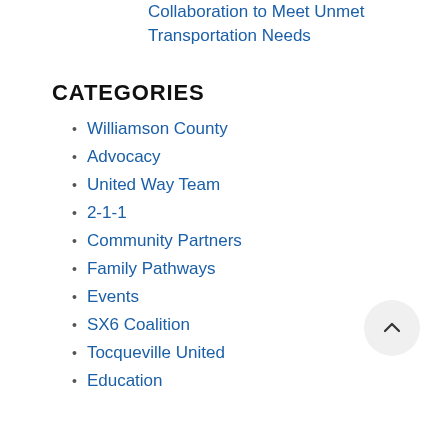Collaboration to Meet Unmet Transportation Needs
CATEGORIES
Williamson County
Advocacy
United Way Team
2-1-1
Community Partners
Family Pathways
Events
SX6 Coalition
Tocqueville United
Education